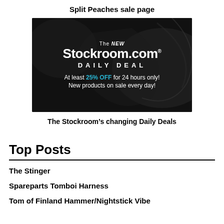Split Peaches sale page
[Figure (advertisement): The NEW Stockroom.com DAILY DEAL banner ad. Dark background with swirling design. Text reads: At least 25% OFF for 24 hours only! New products on sale every day!]
The Stockroom’s changing Daily Deals
Top Posts
The Stinger
Spareparts Tomboi Harness
Tom of Finland Hammer/Nightstick Vibe